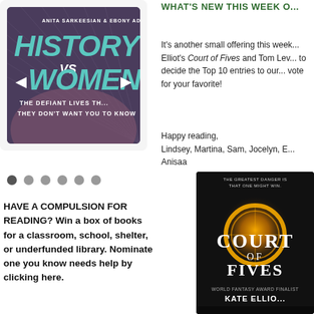[Figure (illustration): Book cover: History vs Women by Anita Sarkeesian & Ebony Adams, with teal/turquoise large text on dark purple background]
[Figure (illustration): Six pagination dots, first one darker (active), rest light gray]
HAVE A COMPULSION FOR READING? Win a box of books for a classroom, school, shelter, or underfunded library. Nominate one you know needs help by clicking here.
WHAT'S NEW THIS WEEK O...
It's another small offering this week... Elliot's Court of Fives and Tom Lev... to decide the Top 10 entries to our... vote for your favorite!
Happy reading,
Lindsey, Martina, Sam, Jocelyn, E...
Anisaa
[Figure (illustration): Book cover: Court of Fives by Kate Elliott, dark cover with glowing golden orb/ring design]